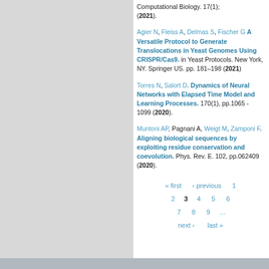Computational Biology. 17(1); (2021).
Agier N, Fleiss A, Delmas S, Fischer G. A Versatile Protocol to Generate Translocations in Yeast Genomes Using CRISPR/Cas9. in Yeast Protocols. New York, NY. Springer US. pp. 181–198 (2021)
Torres N, Salort D. Dynamics of Neural Networks with Elapsed Time Model and Learning Processes. 170(1), pp.1065 - 1099 (2020).
Muntoni AP, Pagnani A, Weigt M, Zamponi F. Aligning biological sequences by exploiting residue conservation and coevolution. Phys. Rev. E. 102, pp.062409 (2020).
Pagination: « first ‹ previous 1 2 3 4 5 6 7 8 9 ... next › last »